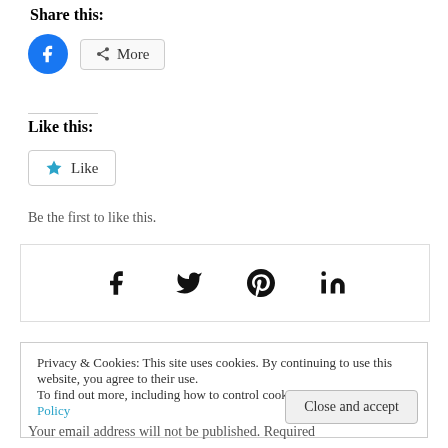Share this:
[Figure (infographic): Facebook share button (blue circle with f icon) and More button with share icon]
Like this:
[Figure (infographic): Like button with blue star icon]
Be the first to like this.
[Figure (infographic): Social sharing icons: Facebook (f), Twitter (bird), Pinterest (P), LinkedIn (in)]
Privacy & Cookies: This site uses cookies. By continuing to use this website, you agree to their use.
To find out more, including how to control cookies, see here: Cookie Policy
Close and accept
Your email address will not be published. Required